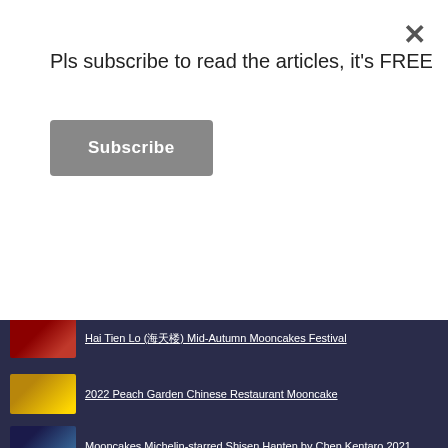Pls subscribe to read the articles, it's FREE
Subscribe
Hai Tien Lo (海天楼) Mid-Autumn Mooncakes Festival
2022 Peach Garden Chinese Restaurant Mooncake
Mooncakes Michelin-starred Shisen Hanten by Chen Kentaro 2021
What Mooncake to buy for Mooncake Festival 2022
2022 Mid-Autumn Festive Takashimaya Mooncakes Sales
2022 FOUR SEASONS HOTEL SINGAPORE MOONCAKES